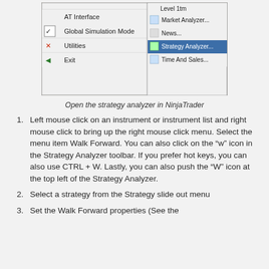[Figure (screenshot): A Windows-style context menu showing items: AT Interface, Global Simulation Mode (checked), Utilities (with arrow), Exit; and a submenu showing Market Analyzer..., News..., Strategy Analyzer... (highlighted in blue), Time And Sales...]
Open the strategy analyzer in NinjaTrader
Left mouse click on an instrument or instrument list and right mouse click to bring up the right mouse click menu. Select the menu item Walk Forward. You can also click on the “w” icon in the Strategy Analyzer toolbar. If you prefer hot keys, you can also use CTRL + W. Lastly, you can also push the “W” icon at the top left of the Strategy Analyzer.
Select a strategy from the Strategy slide out menu
Set the Walk Forward properties (See the